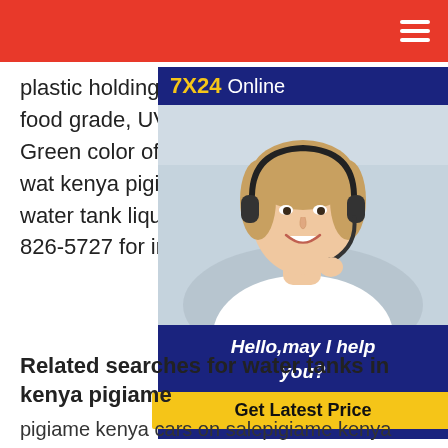plastic holding tanks. Our Premium Plastic Water Tanks are made from a food grade, UV stabilize and are manufactured using the Roto-M The Green color of our plastic water sto reduces algae growth and blends in wa kenya pigiamePlastic Water Tanks, Pla Liquid Storage TanksPlastic water tank liquid storage tanks discounted up to 60 online or call (800) 826-5727 for in-sto
[Figure (other): Customer service chat widget showing 7X24 Online banner, a woman wearing a headset smiling, with text Hello, may I help you? and a Get Latest Price button]
Related searches for water tanks in kenya pigiame
pigiame kenya cars on salepigiame kenya laptopspigiame jobspigiame cars for salepigiame furnitureRelated searches for water tanks in kenya pigiamepigiame kenya cars on salepigiame kenya